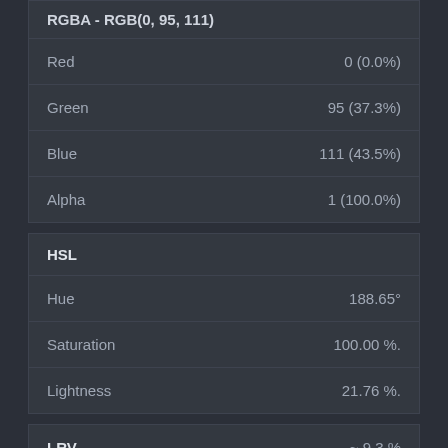RGBA - RGB(0, 95, 111)
| Property | Value |
| --- | --- |
| Red | 0 (0.0%) |
| Green | 95 (37.3%) |
| Blue | 111 (43.5%) |
| Alpha | 1 (100.0%) |
HSL
| Property | Value |
| --- | --- |
| Hue | 188.65° |
| Saturation | 100.00 %. |
| Lightness | 21.76 %. |
LRV
~ 9.3 %